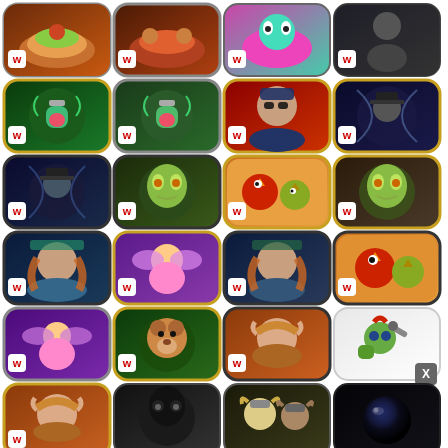[Figure (screenshot): Grid of mobile app store game icons, 4 columns x 6 rows, featuring various casual/hidden object games with Wooga-style W badges]
[Figure (screenshot): Row 1: food puzzle game, food puzzle game, colorful monster game, crime/police game]
[Figure (screenshot): Row 2: potion/love game (gold border), potion/love game (gray border), police game (gold border), gothic/steampunk game (gold border)]
[Figure (screenshot): Row 3: gothic/steampunk game (dark border), zombie game (dark border), angry birds-style game (gold border), zombie game (gold border)]
[Figure (screenshot): Row 4: fantasy woman game (dark border), fairy game (gold border), fantasy woman game (dark border), bird game (dark border)]
[Figure (screenshot): Row 5: fairy game (gray border), beaver/pet game (gold border), elf woman game (dark border), goblin mechanic game (no badge)]
[Figure (screenshot): Row 6 (partial): elf woman game (gold border), mysterious black shadow game, viking/dwarf game, dark orb game]